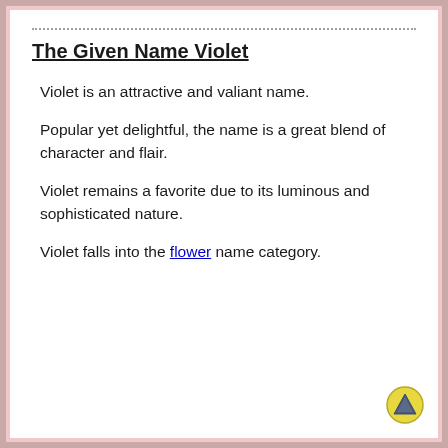The Given Name Violet
Violet is an attractive and valiant name.
Popular yet delightful, the name is a great blend of character and flair.
Violet remains a favorite due to its luminous and sophisticated nature.
Violet falls into the flower name category.